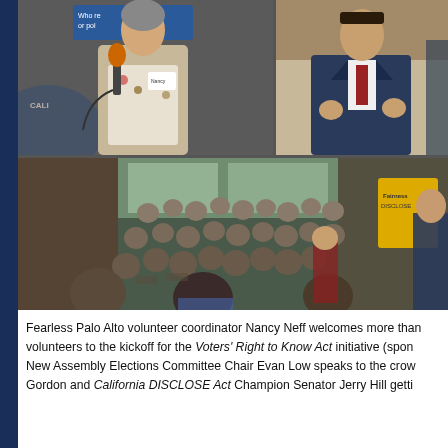[Figure (photo): Composite of three photos: top-left shows Nancy Neff speaking at a podium with a microphone wearing a floral top and beige cardigan with a name badge, a California-themed banner visible behind her; top-right shows Evan Low in a dark suit applauding or gesturing; bottom shows a large crowd of seated volunteers at the Voters' Right to Know Act kickoff event, with a yellow banner and speaker at right side.]
Fearless Palo Alto volunteer coordinator Nancy Neff welcomes more than volunteers to the kickoff for the Voters' Right to Know Act initiative (spon New Assembly Elections Committee Chair Evan Low speaks to the crow Gordon and California DISCLOSE Act Champion Senator Jerry Hill gett